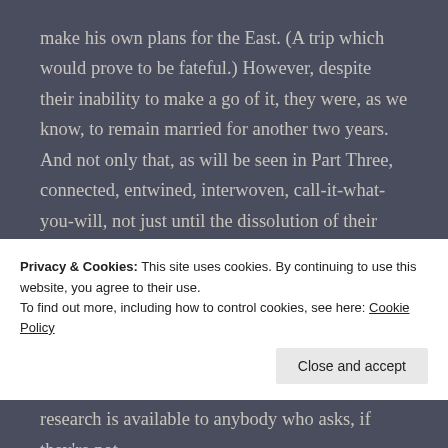make his own plans for the East. (A trip which would prove to be fateful.) However, despite their inability to make a go of it, they were, as we know, to remain married for another two years. And not only that, as will be seen in Part Three, connected, entwined, interwoven, call-it-what-you-will, not just until the dissolution of their marriage, but beyond. Even beyond the death of Rudolph Valentino. And, as this post demonstrates, beyond the death of Jean Acker. And even beyond this post. Chained for all eternity, down through time, forever.
Privacy & Cookies: This site uses cookies. By continuing to use this website, you agree to their use.
To find out more, including how to control cookies, see here: Cookie Policy
research is available to anybody who asks, if they're not